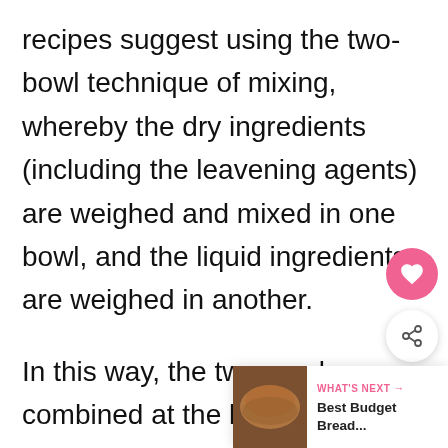recipes suggest using the two-bowl technique of mixing, whereby the dry ingredients (including the leavening agents) are weighed and mixed in one bowl, and the liquid ingredients are weighed in another.
In this way, the two can be combined at the last minute, just before being placed into the oven. Recipes that also rely on rise from additional ingredients such as whisked eggs or creamed butter and
WHAT'S NEXT → Best Budget Bread...